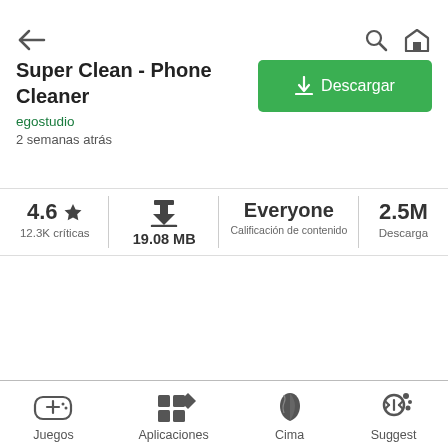[Figure (screenshot): App store page for Super Clean - Phone Cleaner by egostudio]
Super Clean - Phone Cleaner
egostudio
2 semanas atrás
4.6 ★
12.3K críticas
19.08 MB
Everyone
Calificación de contenido
2.5M
Descarga
Juegos
Aplicaciones
Cima
Suggest